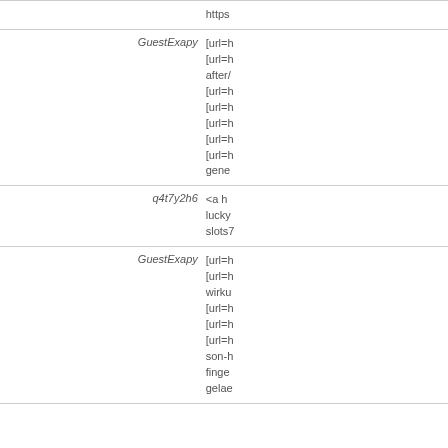| user | content |
| --- | --- |
|  | https |
| GuestExapy | [url=h
[url=h
after/
[url=h
[url=h
[url=h
[url=h
[url=h
gene |
| q4t7y2h6 | <a h
lucky
slots7 |
| GuestExapy | [url=h
[url=h
wirku
[url=h
[url=h
[url=h
son-h
finge
gelae |